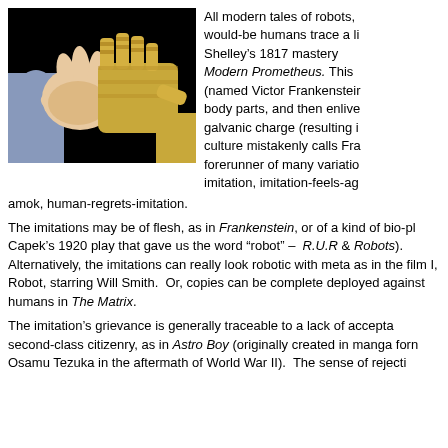[Figure (photo): A human hand shaking hands with a golden robotic/mechanical hand against a black background.]
All modern tales of robots, would-be humans trace a lineage to Shelley’s 1817 masterpiece Modern Prometheus. This (named Victor Frankenstein) body parts, and then enlives galvanic charge (resulting in culture mistakenly calls Fra forerunner of many variations imitation, imitation-feels-ag amok, human-regrets-imitation.
The imitations may be of flesh, as in Frankenstein, or of a kind of bio-plastic, as in Capek’s 1920 play that gave us the word “robot” –  R.U.R (Rossum’s Universal Robots).  Alternatively, the imitations can really look robotic with metal parts, as in the film I, Robot, starring Will Smith.  Or, copies can be completely deployed against humans in The Matrix.
The imitation’s grievance is generally traceable to a lack of acceptance, second-class citizenry, as in Astro Boy (originally created in manga form by Osamu Tezuka in the aftermath of World War II).  The sense of rejection